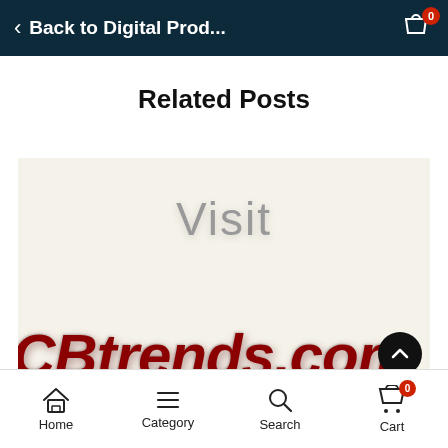Back to Digital Prod...
Related Posts
[Figure (illustration): Promotional image showing text 'Visit CBtrends.com' on a light beige background, with 'Visit' in grey and 'CBtrends.com' in bold dark red italic lettering]
Home  Category  Search  Cart